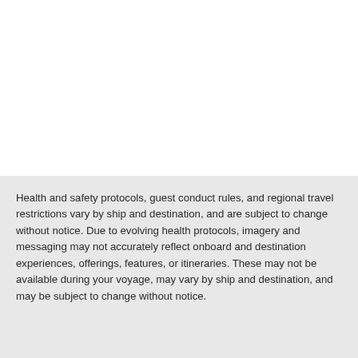Health and safety protocols, guest conduct rules, and regional travel restrictions vary by ship and destination, and are subject to change without notice. Due to evolving health protocols, imagery and messaging may not accurately reflect onboard and destination experiences, offerings, features, or itineraries. These may not be available during your voyage, may vary by ship and destination, and may be subject to change without notice.